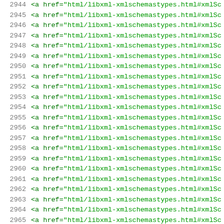Code listing showing lines 2944-2965 with HTML anchor tags referencing html/libxml-xmlschemastypes.html#xmlSc
2944   <a href="html/libxml-xmlschemastypes.html#xmlSc
2945   <a href="html/libxml-xmlschemastypes.html#xmlSc
2946   <a href="html/libxml-xmlschemastypes.html#xmlSc
2947   <a href="html/libxml-xmlschemastypes.html#xmlSc
2948   <a href="html/libxml-xmlschemastypes.html#xmlSc
2949   <a href="html/libxml-xmlschemastypes.html#xmlSc
2950   <a href="html/libxml-xmlschemastypes.html#xmlSc
2951   <a href="html/libxml-xmlschemastypes.html#xmlSc
2952   <a href="html/libxml-xmlschemastypes.html#xmlSc
2953   <a href="html/libxml-xmlschemastypes.html#xmlSc
2954   <a href="html/libxml-xmlschemastypes.html#xmlSc
2955   <a href="html/libxml-xmlschemastypes.html#xmlSc
2956   <a href="html/libxml-xmlschemastypes.html#xmlSc
2957   <a href="html/libxml-xmlschemastypes.html#xmlSc
2958   <a href="html/libxml-xmlschemastypes.html#xmlSc
2959   <a href="html/libxml-xmlschemastypes.html#xmlSc
2960   <a href="html/libxml-xmlschemastypes.html#xmlSc
2961   <a href="html/libxml-xmlschemastypes.html#xmlSc
2962   <a href="html/libxml-xmlschemastypes.html#xmlSc
2963   <a href="html/libxml-xmlschemastypes.html#xmlSc
2964   <a href="html/libxml-xmlschemastypes.html#xmlSc
2965   <a href="html/libxml-xmlschemastypes.html#xmlSc